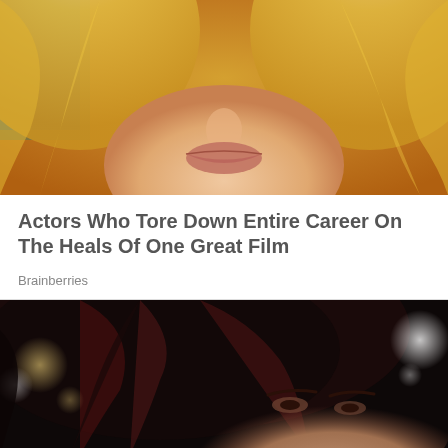[Figure (photo): Close-up photo of a blonde woman's lower face, with orange/golden background]
Actors Who Tore Down Entire Career On The Heals Of One Great Film
Brainberries
[Figure (photo): Close-up photo of a dark-haired woman with reddish highlights, eyes visible, dark background with bokeh lights]
This website uses cookies to improve your experience. We'll assume you're ok with this, but you can opt-out if you wish.
Cookie settings  ACCEPT